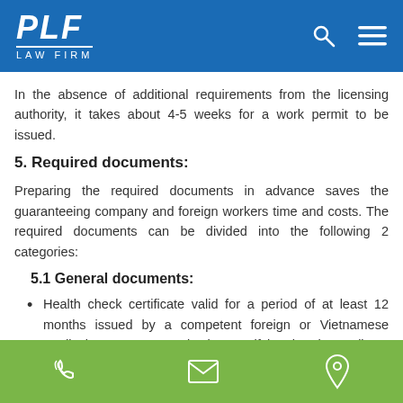PLF LAW FIRM
In the absence of additional requirements from the licensing authority, it takes about 4-5 weeks for a work permit to be issued.
5. Required documents:
Preparing the required documents in advance saves the guaranteeing company and foreign workers time and costs. The required documents can be divided into the following 2 categories:
5.1 General documents:
Health check certificate valid for a period of at least 12 months issued by a competent foreign or Vietnamese medical agency or organization, certifying that the applicant is healthy enough to work
PLF Law Firm contact footer